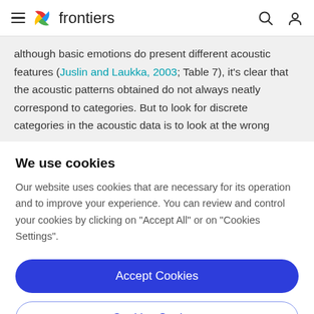frontiers
although basic emotions do present different acoustic features (Juslin and Laukka, 2003; Table 7), it's clear that the acoustic patterns obtained do not always neatly correspond to categories. But to look for discrete categories in the acoustic data is to look at the wrong
We use cookies
Our website uses cookies that are necessary for its operation and to improve your experience. You can review and control your cookies by clicking on "Accept All" or on "Cookies Settings".
Accept Cookies
Cookies Settings